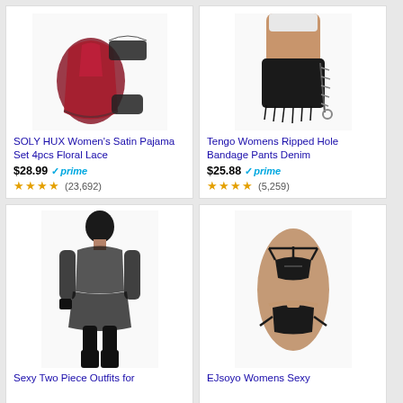[Figure (photo): SOLY HUX Women's Satin Pajama Set product photo showing red/maroon satin robe with black lace lingerie pieces]
SOLY HUX Women's Satin Pajama Set 4pcs Floral Lace
$28.99 ✓prime (23,692)
[Figure (photo): Tengo Womens Ripped Hole Bandage Pants Denim product photo showing black denim shorts with lace-up sides on a model]
Tengo Womens Ripped Hole Bandage Pants Denim
$25.88 ✓prime (5,259)
[Figure (photo): Sexy Two Piece Outfits product photo showing black sheer two-piece outfit on a model with knee-high boots]
Sexy Two Piece Outfits for
[Figure (photo): EJsoyo Womens Sexy product photo showing black strappy bikini/lingerie set on a model]
EJsoyo Womens Sexy